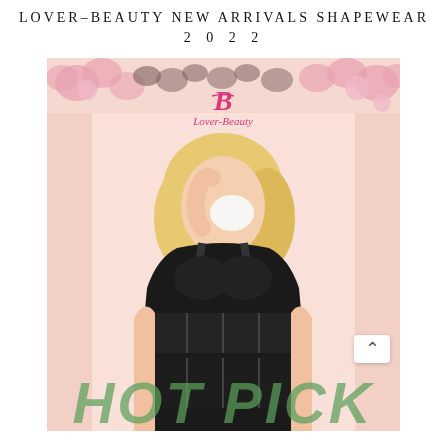LOVER-BEAUTY NEW ARRIVALS SHAPEWEAR 2022
[Figure (photo): Lover-Beauty brand promotional image showing a blonde woman wearing a black shapewear bodysuit, holding a white rose, with floral background decorations and 'HOT PICK' text overlay at the bottom]